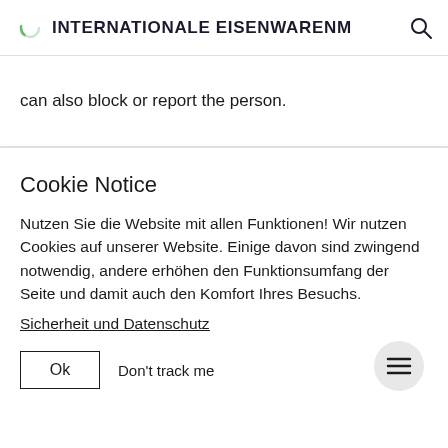INTERNATIONALE EISENWARENM
can also block or report the person.
Cookie Notice
Nutzen Sie die Website mit allen Funktionen! Wir nutzen Cookies auf unserer Website. Einige davon sind zwingend notwendig, andere erhöhen den Funktionsumfang der Seite und damit auch den Komfort Ihres Besuchs.
Sicherheit und Datenschutz
Ok  Don't track me